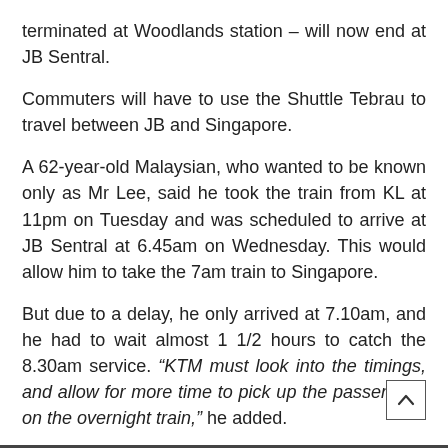terminated at Woodlands station – will now end at JB Sentral.
Commuters will have to use the Shuttle Tebrau to travel between JB and Singapore.
A 62-year-old Malaysian, who wanted to be known only as Mr Lee, said he took the train from KL at 11pm on Tuesday and was scheduled to arrive at JB Sentral at 6.45am on Wednesday. This would allow him to take the 7am train to Singapore.
But due to a delay, he only arrived at 7.10am, and he had to wait almost 1 1/2 hours to catch the 8.30am service. “KTM must look into the timings, and allow for more time to pick up the passengers on the overnight train,” he added.